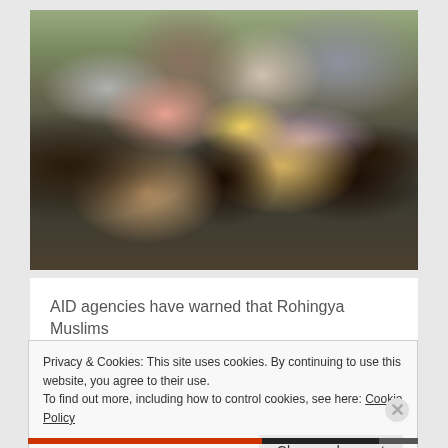[Figure (photo): A crowd of Rohingya Muslim people, mostly women and children wearing headscarves and traditional clothing, standing together in a queue or crowd outdoors.]
AID agencies have warned that Rohingya Muslims
Privacy & Cookies: This site uses cookies. By continuing to use this website, you agree to their use.
To find out more, including how to control cookies, see here: Cookie Policy
Close and accept